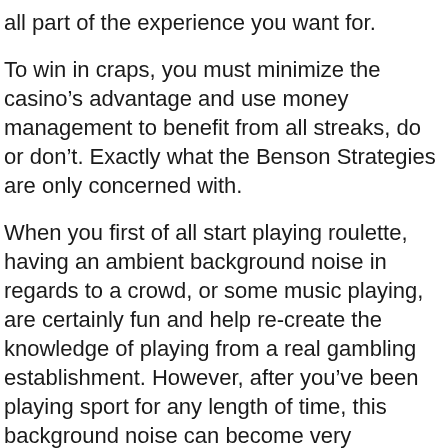all part of the experience you want for.
To win in craps, you must minimize the casino’s advantage and use money management to benefit from all streaks, do or don’t. Exactly what the Benson Strategies are only concerned with.
When you first of all start playing roulette, having an ambient background noise in regards to a crowd, or some music playing, are certainly fun and help re-create the knowledge of playing from a real gambling establishment. However, after you’ve been playing sport for any length of time, this background noise can become very inconvenient.
16. 57% of people the The united states bought a lottery ticket in focus of the final 12 a few months. This fact, which was discovered any Gallup Poll